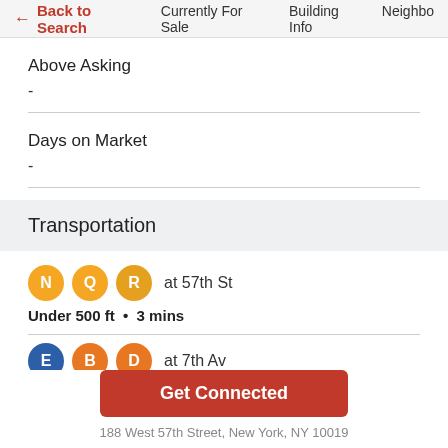← Back to Search   Currently For Sale   Building Info   Neighbo
Above Asking
-
Days on Market
-
Transportation
N Q R at 57th St
Under 500 ft • 3 mins
E B D at 7th Av
Get Connected
188 West 57th Street, New York, NY 10019